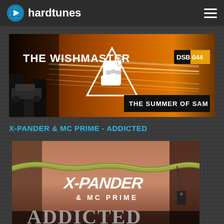hardtunes
[Figure (illustration): The Wishmaster – The Summer of Sam album/release banner with DSB044 label, orange and dark tones with city street imagery and a fist graphic inside a triangle]
X-PANDER & MC PRIME - ADDICTED
[Figure (illustration): X-Pander & MC Prime album cover showing a chain/necklace on skin background with graffiti-style artist name text]